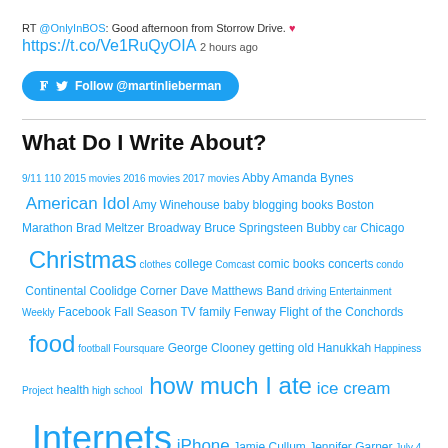RT @OnlyInBOS: Good afternoon from Storrow Drive. ❤ https://t.co/Ve1RuQyOIA 2 hours ago
Follow @martinlieberman
What Do I Write About?
9/11 110 2015 movies 2016 movies 2017 movies Abby Amanda Bynes American Idol Amy Winehouse baby blogging books Boston Marathon Brad Meltzer Broadway Bruce Springsteen Bubby car Chicago Christmas clothes college Comcast comic books concerts condo Continental Coolidge Corner Dave Matthews Band driving Entertainment Weekly Facebook Fall Season TV family Fenway Flight of the Conchords food football Foursquare George Clooney getting old Hanukkah Happiness Project health high school how much I ate ice cream Internets iPhone Jamie Cullum Jennifer Garner July 4 Keith Olbermann kids Letterman Lily Allen looking back lucky magazines Marc and Ian marketing Molasses Flood movies moving music my birthday